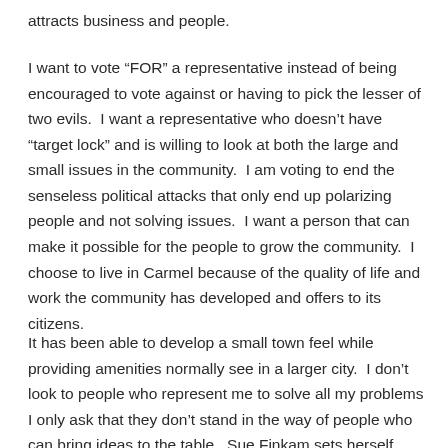attracts business and people.
I want to vote “FOR” a representative instead of being encouraged to vote against or having to pick the lesser of two evils.  I want a representative who doesn’t have “target lock” and is willing to look at both the large and small issues in the community.  I am voting to end the senseless political attacks that only end up polarizing people and not solving issues.  I want a person that can make it possible for the people to grow the community.  I choose to live in Carmel because of the quality of life and work the community has developed and offers to its citizens.
It has been able to develop a small town feel while providing amenities normally see in a larger city.  I don’t look to people who represent me to solve all my problems I only ask that they don’t stand in the way of people who can bring ideas to the table.  Sue Finkam sets herself apart by bringing attributes to the office that can achieve the continued measured growth of Carmel.